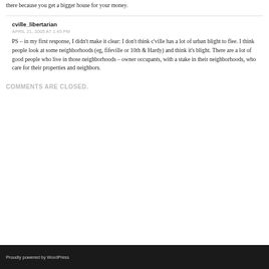there because you get a bigger house for your money.
cville_libertarian
APRIL 21, 2005 AT 1:45 PM
PS – in my first response, I didn't make it clear: I don't think c'ville has a lot of urban blight to flee. I think people look at some neighborhoods (eg, fifeville or 10th & Hardy) and think it's blight. There are a lot of good people who live in those neighborhoods – owner occupants, with a stake in their neighborhoods, who care for their properties and neighbors.
COMMENTS ARE CLOSED.
Proudly powered by WordPress